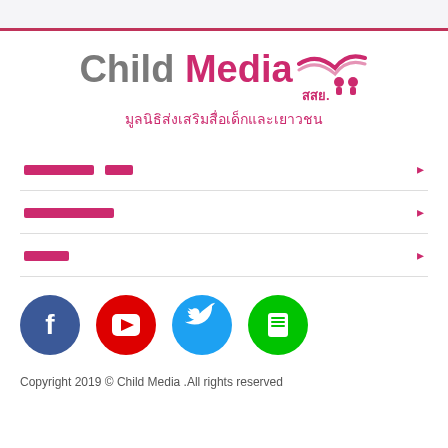[Figure (logo): Child Media logo with Thai subtitle 'มูลนิธิส่งเสริมสื่อเด็กและเยาวชน' and สสย. icon]
เกี่ยวกับ สสย.
โครงการกิจกรรม
สื่อดี
[Figure (infographic): Social media icons: Facebook, YouTube, Twitter, Line]
Copyright 2019 © Child Media .All rights reserved